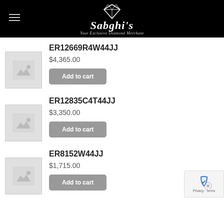[Figure (logo): Sabghi's diamond jeweler logo with diamond icon and tagline 'Your Exclusive Diamond Merchant' on black header]
ER12669R4W44JJ
$4,365.00
[Figure (photo): Placeholder product image thumbnail]
Add to cart
ER12835C4T44JJ
$3,350.00
[Figure (photo): Placeholder product image thumbnail]
Add to cart
ER8152W44JJ
$1,715.00
[Figure (photo): Placeholder product image thumbnail]
Add to cart